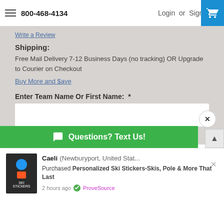800-468-4134  Login or Sign Up
Write a Review
Shipping:
Free Mail Delivery 7-12 Business Days (no tracking) OR Upgrade to Courier on Checkout
Buy More and $ave
Enter Team Name Or First Name:  *
Player Last Name:  *
Player Jersey N...
Questions? Text Us!
Caeli (Newburyport, United Stat...
Purchased Personalized Ski Stickers-Skis, Pole & More That Last
2 hours ago  ProveSource